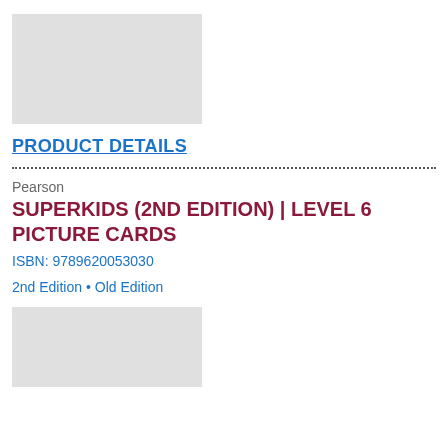[Figure (photo): Gray placeholder image for product cover at top]
PRODUCT DETAILS
Pearson
SUPERKIDS (2ND EDITION) | LEVEL 6 PICTURE CARDS
ISBN: 9789620053030
2nd Edition • Old Edition
[Figure (photo): Gray placeholder image for product cover at bottom]